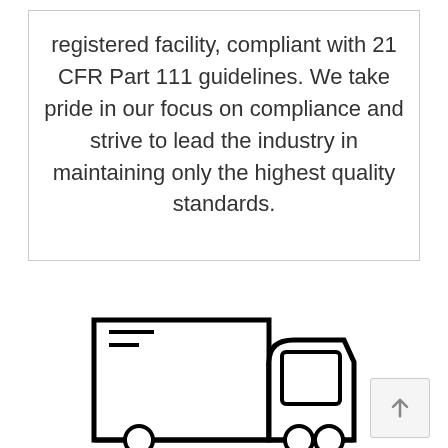registered facility, compliant with 21 CFR Part 111 guidelines. We take pride in our focus on compliance and strive to lead the industry in maintaining only the highest quality standards.
[Figure (illustration): Line art illustration of a delivery truck or large vehicle, shown partially at the bottom of the page. The illustration is a simple black outline drawing on white background.]